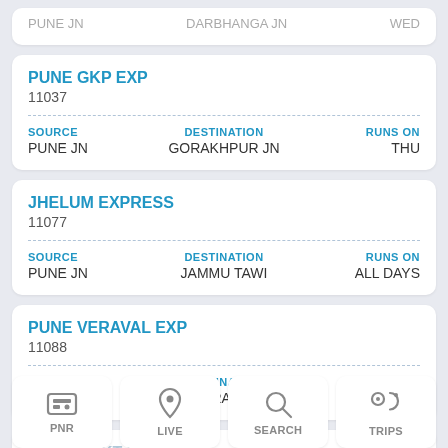PUNE GKP EXP
11037
SOURCE: PUNE JN | DESTINATION: GORAKHPUR JN | RUNS ON: THU
JHELUM EXPRESS
11077
SOURCE: PUNE JN | DESTINATION: JAMMU TAWI | RUNS ON: ALL DAYS
PUNE VERAVAL EXP
11088
SOURCE: PUNE JN | DESTINATION: VERAVAL | RUNS ON: THU
PUNE BGKT EXP
110...
PNR | LIVE | SEARCH | TRIPS